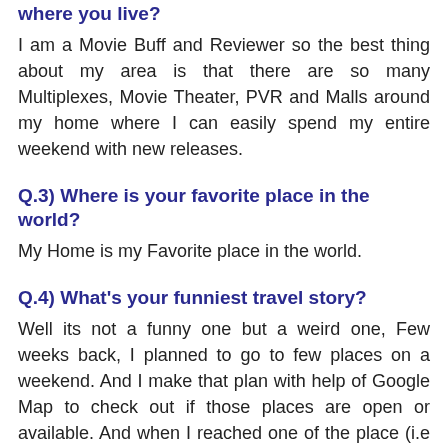where you live?
I am a Movie Buff and Reviewer so the best thing about my area is that there are so many Multiplexes, Movie Theater, PVR and Malls around my home where I can easily spend my entire weekend with new releases.
Q.3) Where is your favorite place in the world?
My Home is my Favorite place in the world.
Q.4) What's your funniest travel story?
Well its not a funny one but a weird one, Few weeks back, I planned to go to few places on a weekend. And I make that plan with help of Google Map to check out if those places are open or available. And when I reached one of the place (i.e Natural History Museum), I found out that the place was closed since last year due to a fire incident